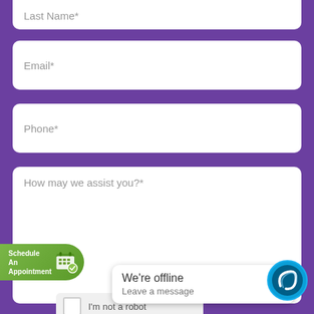Last Name*
Email*
Phone*
How may we assist you?*
[Figure (illustration): Green pill-shaped Schedule An Appointment button with calendar icon]
[Figure (screenshot): Chat widget popup showing 'We're offline - Leave a message' with a Siteimprove-style chat avatar circle in blue]
We're offline
Leave a message
I'm not a robot